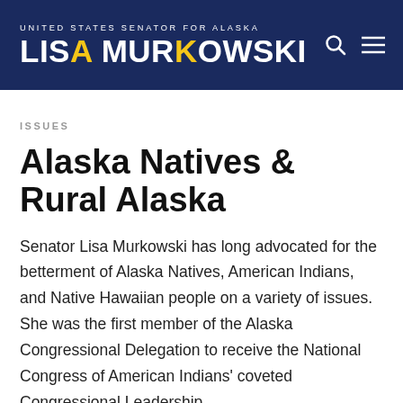UNITED STATES SENATOR FOR ALASKA — LISA MURKOWSKI
ISSUES
Alaska Natives & Rural Alaska
Senator Lisa Murkowski has long advocated for the betterment of Alaska Natives, American Indians, and Native Hawaiian people on a variety of issues. She was the first member of the Alaska Congressional Delegation to receive the National Congress of American Indians' coveted Congressional Leadership